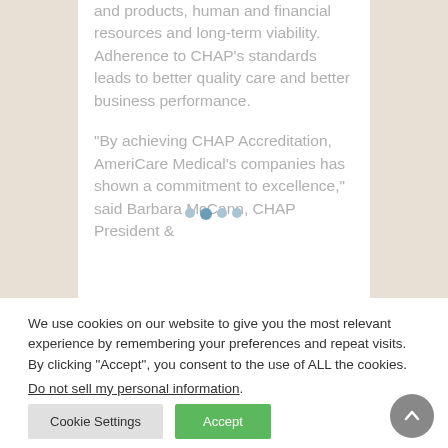and products, human and financial resources and long-term viability. Adherence to CHAP's standards leads to better quality care and better business performance.
“By achieving CHAP Accreditation, AmeriCare Medical’s companies has shown a commitment to excellence,” said Barbara McCann, CHAP President & CEO. “It recognizes...
We use cookies on our website to give you the most relevant experience by remembering your preferences and repeat visits. By clicking “Accept”, you consent to the use of ALL the cookies.
Do not sell my personal information.